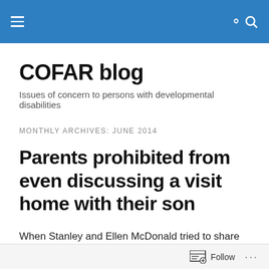COFAR blog — site navigation header with hamburger menu and search icon
COFAR blog
Issues of concern to persons with developmental disabilities
MONTHLY ARCHIVES: JUNE 2014
Parents prohibited from even discussing a visit home with their son
When Stanley and Ellen McDonald tried to share and discuss a COFAR Blog post with their son, Andy, during a
Follow ...